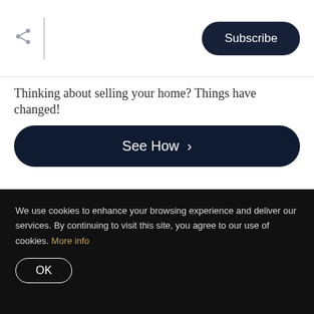Subscribe
Thinking about selling your home? Things have changed!
See How ›
plan that they're ready to execute. Any good agent will be happy to answer your questions and back up their responses with proof.
We use cookies to enhance your browsing experience and deliver our services. By continuing to visit this site, you agree to our use of cookies. More info
OK